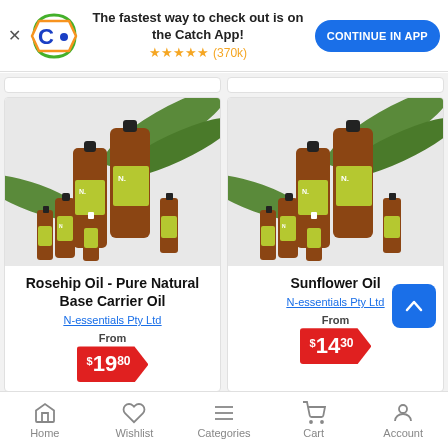[Figure (screenshot): App banner with Catch logo, text 'The fastest way to check out is on the Catch App!', star rating (370k), and CONTINUE IN APP button]
[Figure (photo): Rosehip Oil - Pure Natural Base Carrier Oil product image showing amber bottles with green N-essentials labels and palm leaf background]
Rosehip Oil - Pure Natural Base Carrier Oil
N-essentials Pty Ltd
From
$19.80
[Figure (photo): Sunflower Oil product image showing amber bottles with green N-essentials labels and palm leaf background]
Sunflower Oil
N-essentials Pty Ltd
From
$14.30
Home  Wishlist  Categories  Cart  Account